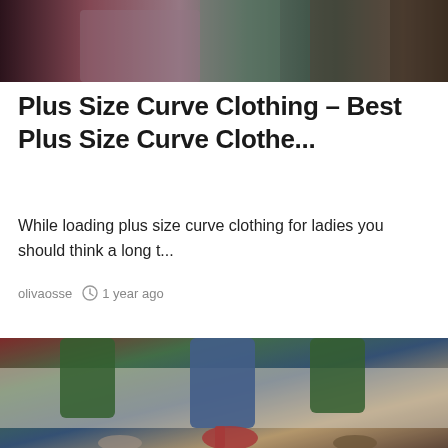[Figure (photo): Cropped photo of people wearing colorful clothing, partial view of torsos and legs, dark background with fabric patterns visible]
Plus Size Curve Clothing – Best Plus Size Curve Clothe...
While loading plus size curve clothing for ladies you should think a long t...
olivaosse   1 year ago
[Figure (photo): Photo of several women sitting on a white sofa, showing their legs and feet wearing heels and casual shoes, wearing green, red, and denim clothing]